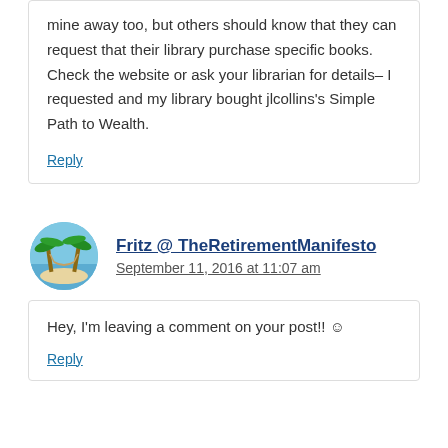mine away too, but others should know that they can request that their library purchase specific books. Check the website or ask your librarian for details– I requested and my library bought jlcollins's Simple Path to Wealth.
Reply
Fritz @ TheRetirementManifesto
September 11, 2016 at 11:07 am
Hey, I'm leaving a comment on your post!! ☺
Reply